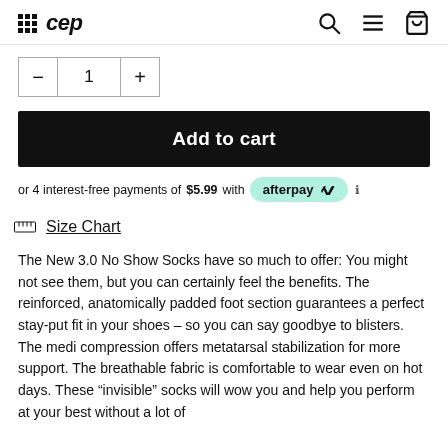CEP [logo with grid icon, search icon, menu icon, cart icon]
1 [quantity selector with minus and plus buttons]
Add to cart
or 4 interest-free payments of $5.99 with afterpay ℹ
📏 Size Chart
The New 3.0 No Show Socks have so much to offer: You might not see them, but you can certainly feel the benefits. The reinforced, anatomically padded foot section guarantees a perfect stay-put fit in your shoes – so you can say goodbye to blisters. The medi compression offers metatarsal stabilization for more support. The breathable fabric is comfortable to wear even on hot days. These "invisible" socks will wow you and help you perform at your best without a lot of